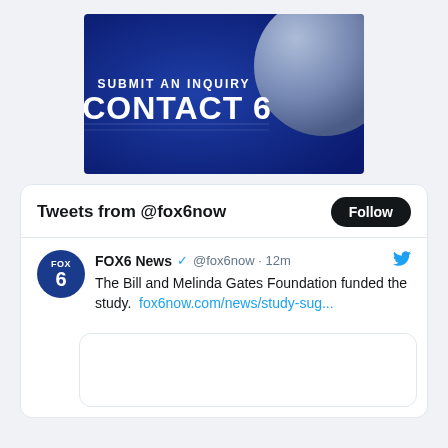[Figure (screenshot): FOX6 'Submit an Inquiry - Contact 6' banner image with blue background and large white text]
Tweets from @fox6now
FOX6 News @fox6now · 12m  The Bill and Melinda Gates Foundation funded the study.  fox6now.com/news/study-sug...
[Figure (screenshot): Embedded tweet preview box (empty/loading)]